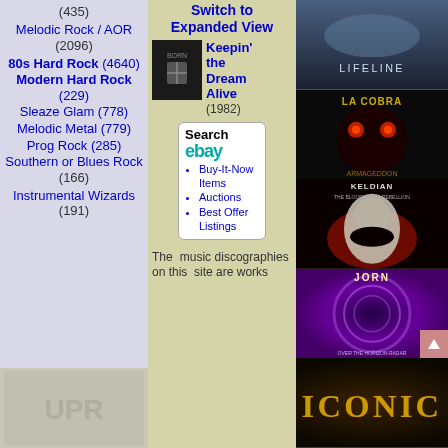(435)
Melodic Rock / AOR (2096)
80s Hard Rock (4640)
Modern Hard Rock (229)
Sleaze Glam (778)
Melodic Metal (779)
Prog Rock (285)
Southern or Blues Rock (166)
Instrumental Wizards (191)
Switch to Expanded View
[Figure (photo): Album cover thumbnail - dark image]
Keepin' the Dream Alive (1982)
Search eBay
Buy-It-Now Items
Auctions
Best Offer Listings
The music discographies on this site are works
[Figure (photo): Album cover - Lifeline, mountain/landscape]
[Figure (photo): Album cover - La Cobra, red eyes skull]
[Figure (photo): Album cover - Keldian The Bloodwater Rebellion, screaming face]
[Figure (photo): Album cover - Jorn, purple spiral]
[Figure (photo): Album cover - Iconic, gold text on dark]